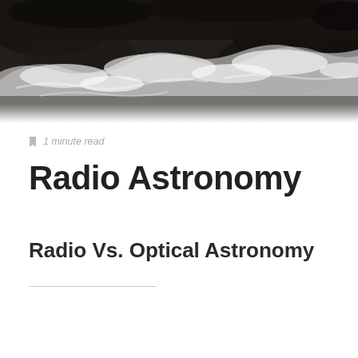[Figure (photo): Aerial photograph of ocean waves crashing against dark rocky shore, black and white tones]
1 minute read
Radio Astronomy
Radio Vs. Optical Astronomy